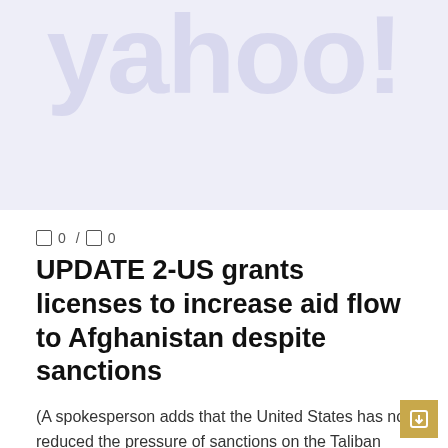[Figure (logo): Yahoo! logo watermark on light lavender/purple background banner]
0 / 0
UPDATE 2-US grants licenses to increase aid flow to Afghanistan despite sanctions
(A spokesperson adds that the United States has not reduced the pressure of sanctions on the Taliban leadership) By Daphné Psaledakis UNITED NATIONS, Sept. 24 (Reuters) ...
READ MORE